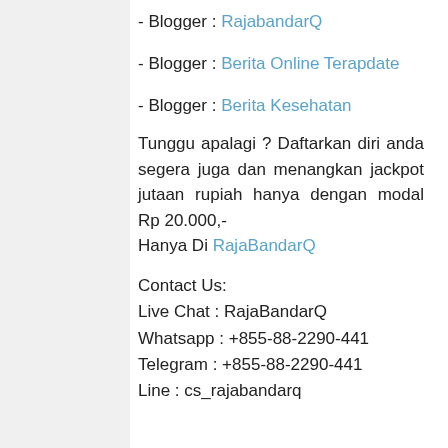- Blogger : RajabandarQ
- Blogger : Berita Online Terapdate
- Blogger : Berita Kesehatan
Tunggu apalagi ? Daftarkan diri anda segera juga dan menangkan jackpot jutaan rupiah hanya dengan modal Rp 20.000,-
Hanya Di RajaBandarQ
Contact Us:
Live Chat : RajaBandarQ
Whatsapp : +855-88-2290-441
Telegram : +855-88-2290-441
Line : cs_rajabandarq